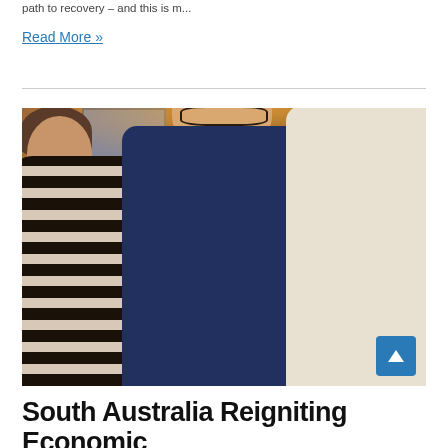path to recovery – and this is m...
Read More »
[Figure (photo): Three people having a conversation in what appears to be an upscale restaurant or bar setting. A man in a navy blazer with arms crossed stands in the center, a woman with dark hair and a striped black-and-white top is on the left, and a man in a beige/cream jacket is on the right. The background has warm lighting, wooden cabinets, and glass doors.]
South Australia Reigniting Economic